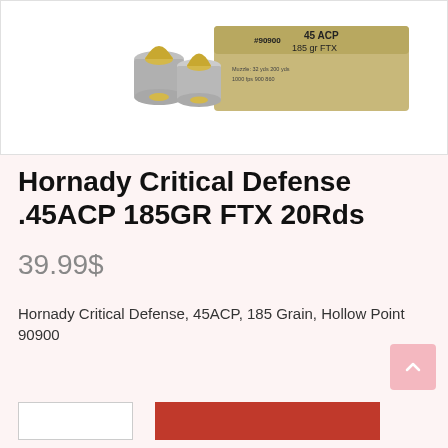[Figure (photo): Product photo showing Hornady Critical Defense .45 ACP 185 gr FTX ammunition box and two bullets on white background]
Hornady Critical Defense .45ACP 185GR FTX 20Rds
39.99$
Hornady Critical Defense, 45ACP, 185 Grain, Hollow Point 90900